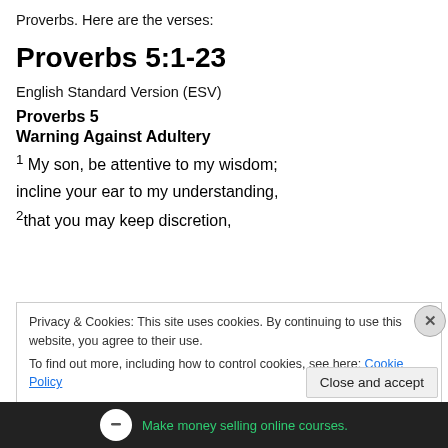Proverbs. Here are the verses:
Proverbs 5:1-23
English Standard Version (ESV)
Proverbs 5
Warning Against Adultery
1 My son, be attentive to my wisdom;
incline your ear to my understanding,
2that you may keep discretion,
Privacy & Cookies: This site uses cookies. By continuing to use this website, you agree to their use.
To find out more, including how to control cookies, see here: Cookie Policy
Close and accept
[Figure (infographic): Dark ad banner at the bottom with a white circular icon and green text: Make money selling online courses.]